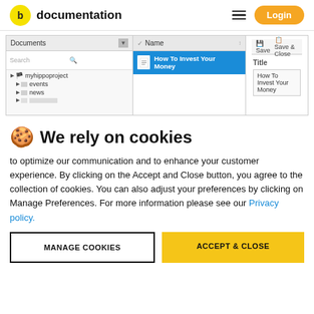documentation | Login
[Figure (screenshot): Software UI screenshot showing a document management interface with a Documents panel, file tree with myhippoproject/events/news, a selected document 'How To Invest Your Money', and a Title field on the right with Save and Save & Close buttons.]
🍪 We rely on cookies
to optimize our communication and to enhance your customer experience. By clicking on the Accept and Close button, you agree to the collection of cookies. You can also adjust your preferences by clicking on Manage Preferences. For more information please see our Privacy policy.
MANAGE COOKIES | ACCEPT & CLOSE